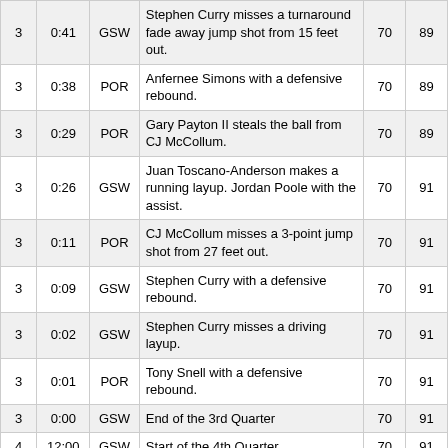| Q | Time | Team | Event | POR | GSW |
| --- | --- | --- | --- | --- | --- |
| 3 | 0:41 | GSW | Stephen Curry misses a turnaround fade away jump shot from 15 feet out. | 70 | 89 |
| 3 | 0:38 | POR | Anfernee Simons with a defensive rebound. | 70 | 89 |
| 3 | 0:29 | POR | Gary Payton II steals the ball from CJ McCollum. | 70 | 89 |
| 3 | 0:26 | GSW | Juan Toscano-Anderson makes a running layup. Jordan Poole with the assist. | 70 | 91 |
| 3 | 0:11 | POR | CJ McCollum misses a 3-point jump shot from 27 feet out. | 70 | 91 |
| 3 | 0:09 | GSW | Stephen Curry with a defensive rebound. | 70 | 91 |
| 3 | 0:02 | GSW | Stephen Curry misses a driving layup. | 70 | 91 |
| 3 | 0:01 | POR | Tony Snell with a defensive rebound. | 70 | 91 |
| 3 | 0:00 | GSW | End of the 3rd Quarter | 70 | 91 |
| 4 | 12:00 | GSW | Start of the 4th Quarter | 70 | 91 |
| 4 | 11:44 | POR | Anfernee Simons misses a 3-point jump shot from 28 feet out. | 70 | 91 |
| 4 | 11:41 | POR | Trail Blazers with an offensive rebound. | 70 | 91 |
| 4 | 11:35 | POR | Larry Nance Jr. makes a 3-point jump shot from 28 feet out. Tony Snell with the assist. | 73 | 91 |
| 4 | 11:19 | GSW | Otto Porter Jr. misses a 3-point jump shot from 29 ... | 73 | 91 |